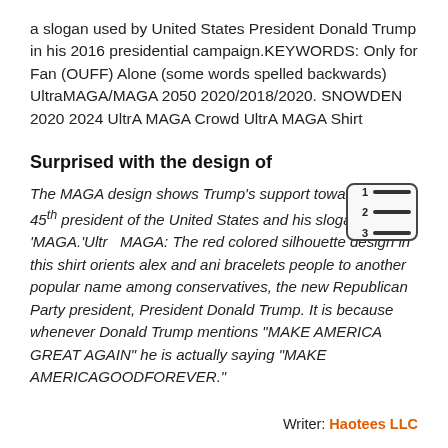a slogan used by United States President Donald Trump in his 2016 presidential campaign.KEYWORDS: Only for Fan (OUFF) Alone (some words spelled backwards) UltraMAGA/MAGA 2050 2020/2018/2020. SNOWDEN 2020 2024 UltrA MAGA Crowd UltrA MAGA Shirt
Surprised with the design of
The MAGA design shows Trump's support towards the 45th president of the United States and his slogan 'MAGA.'Ultra MAGA: The red colored silhouette design in this shirt orients alex and ani bracelets people to another popular name among conservatives, the new Republican Party president, President Donald Trump. It is because whenever Donald Trump mentions "MAKE AMERICA GREAT AGAIN" he is actually saying "MAKE AMERICAGOODFOREVER."
Writer: Haotees LLC